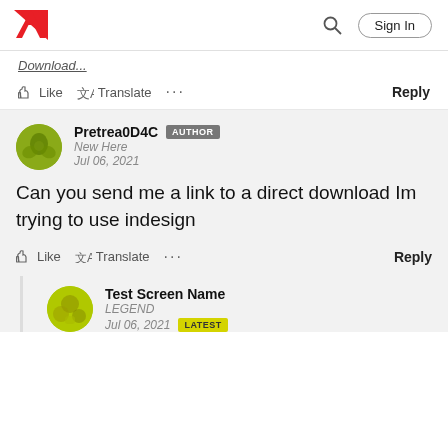Adobe logo, Search, Sign In
Download...
Like  Translate  ...  Reply
Pretrea0D4C  AUTHOR
New Here
Jul 06, 2021

Can you send me a link to a direct download Im trying to use indesign

Like  Translate  ...  Reply
Test Screen Name  LEGEND
Jul 06, 2021  LATEST